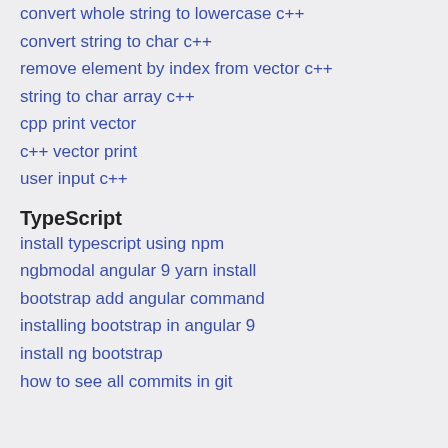convert whole string to lowercase c++
convert string to char c++
remove element by index from vector c++
string to char array c++
cpp print vector
c++ vector print
user input c++
TypeScript
install typescript using npm
ngbmodal angular 9 yarn install
bootstrap add angular command
installing bootstrap in angular 9
install ng bootstrap
how to see all commits in git